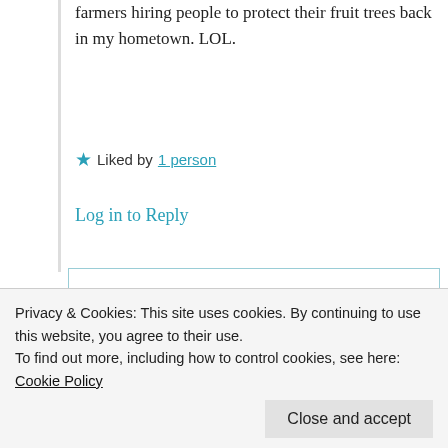farmers hiring people to protect their fruit trees back in my hometown. LOL.
Liked by 1 person
Log in to Reply
Suma Reddy
18th Jun 2021 at 8:33 pm
don't about the taste. Thanks for
Privacy & Cookies: This site uses cookies. By continuing to use this website, you agree to their use.
To find out more, including how to control cookies, see here: Cookie Policy